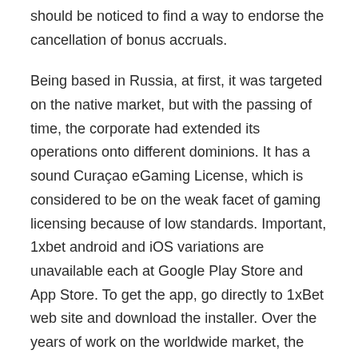should be noticed to find a way to endorse the cancellation of bonus accruals.
Being based in Russia, at first, it was targeted on the native market, but with the passing of time, the corporate had extended its operations onto different dominions. It has a sound Curaçao eGaming License, which is considered to be on the weak facet of gaming licensing because of low standards. Important, 1xbet android and iOS variations are unavailable each at Google Play Store and App Store. To get the app, go directly to 1xBet web site and download the installer. Over the years of work on the worldwide market, the 1xBet affiliate program has collected plenty of constructive feedback from companions.
We have an exclusive 1XBET bonus available of 100 percent as a lot as €/$130 which may be obtained by utilizing the promo code BVIP. 1XBET has turn out to be one of many main names in online gambling and is appropriate for all types of gamblers